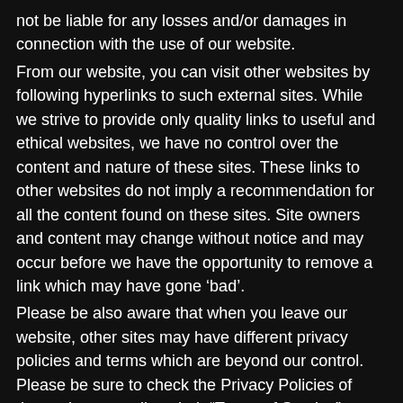not be liable for any losses and/or damages in connection with the use of our website.
From our website, you can visit other websites by following hyperlinks to such external sites. While we strive to provide only quality links to useful and ethical websites, we have no control over the content and nature of these sites. These links to other websites do not imply a recommendation for all the content found on these sites. Site owners and content may change without notice and may occur before we have the opportunity to remove a link which may have gone ‘bad’.
Please be also aware that when you leave our website, other sites may have different privacy policies and terms which are beyond our control. Please be sure to check the Privacy Policies of these sites as well as their “Terms of Service” before engaging in any business or uploading any information.
Consent